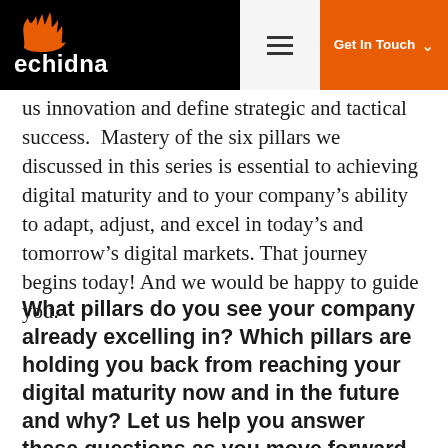echidna | Get In Touch
us innovation and define strategic and tactical success.  Mastery of the six pillars we discussed in this series is essential to achieving digital maturity and to your company’s ability to adapt, adjust, and excel in today’s and tomorrow’s digital markets. That journey begins today! And we would be happy to guide you.
What pillars do you see your company already excelling in? Which pillars are holding you back from reaching your digital maturity now and in the future and why? Let us help you answer these questions as you move forward in your